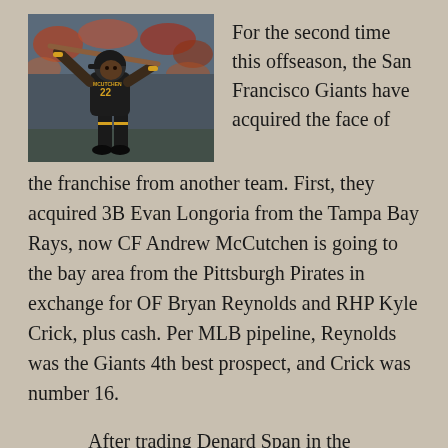[Figure (photo): Baseball player (Andrew McCutchen) in a Pittsburgh Pirates black uniform with number 22, swinging a bat at what appears to be a stadium setting with orange/black crowd in background]
For the second time this offseason, the San Francisco Giants have acquired the face of the franchise from another team. First, they acquired 3B Evan Longoria from the Tampa Bay Rays, now CF Andrew McCutchen is going to the bay area from the Pittsburgh Pirates in exchange for OF Bryan Reynolds and RHP Kyle Crick, plus cash. Per MLB pipeline, Reynolds was the Giants 4th best prospect, and Crick was number 16.
After trading Denard Span in the Longoria trade, the Giants had a very thin outfield. They still